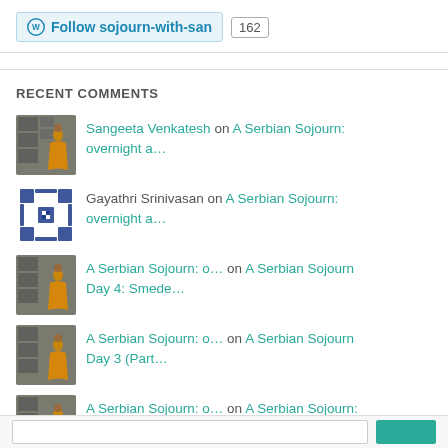[Figure (other): Follow sojourn-with-san button with follower count 162]
RECENT COMMENTS
[Figure (photo): Avatar photo of woman in orange sari in front of framed pictures on wall]
Sangeeta Venkatesh on A Serbian Sojourn: overnight a...
[Figure (logo): Blue geometric WordPress-style avatar with grid pattern]
Gayathri Srinivasan on A Serbian Sojourn: overnight a...
[Figure (photo): Avatar photo of woman in orange sari in front of framed pictures]
A Serbian Sojourn: o... on A Serbian Sojourn Day 4: Smede...
[Figure (photo): Avatar photo of woman in orange sari in front of framed pictures]
A Serbian Sojourn: o... on A Serbian Sojourn Day 3 (Part...
[Figure (photo): Avatar photo of woman in orange sari in front of framed pictures]
A Serbian Sojourn: o... on A Serbian Sojourn: Day 3 (part...